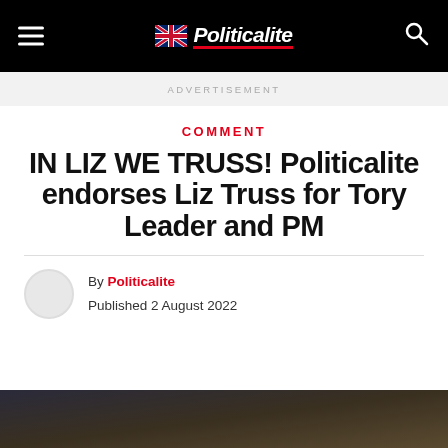Politicalite
ADVERTISEMENT
COMMENT
IN LIZ WE TRUSS! Politicalite endorses Liz Truss for Tory Leader and PM
By Politicalite
Published 2 August 2022
[Figure (photo): Bottom portion of a photo, partially visible at the bottom of the page]